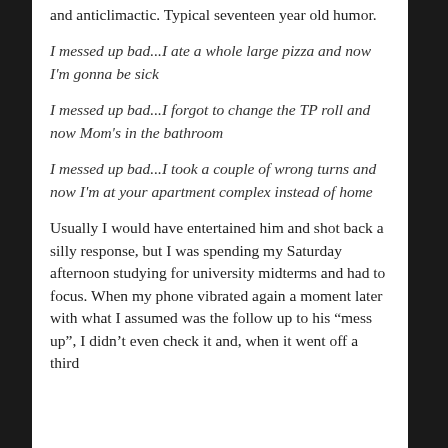and anticlimactic. Typical seventeen year old humor.
I messed up bad...I ate a whole large pizza and now I'm gonna be sick
I messed up bad...I forgot to change the TP roll and now Mom's in the bathroom
I messed up bad...I took a couple of wrong turns and now I'm at your apartment complex instead of home
Usually I would have entertained him and shot back a silly response, but I was spending my Saturday afternoon studying for university midterms and had to focus. When my phone vibrated again a moment later with what I assumed was the follow up to his “mess up”, I didn’t even check it and, when it went off a third